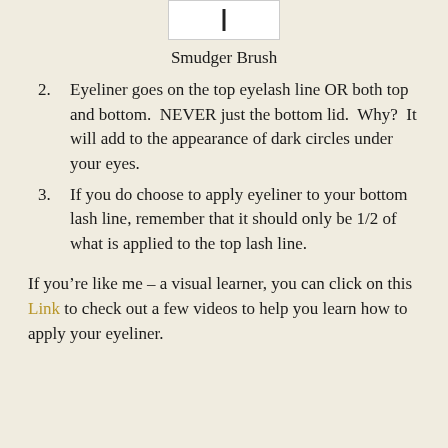[Figure (illustration): A smudger brush illustration — a white rectangle with a vertical dark line/handle visible]
Smudger Brush
Eyeliner goes on the top eyelash line OR both top and bottom.  NEVER just the bottom lid.  Why?  It will add to the appearance of dark circles under your eyes.
If you do choose to apply eyeliner to your bottom lash line, remember that it should only be 1/2 of what is applied to the top lash line.
If you’re like me – a visual learner, you can click on this Link to check out a few videos to help you learn how to apply your eyeliner.